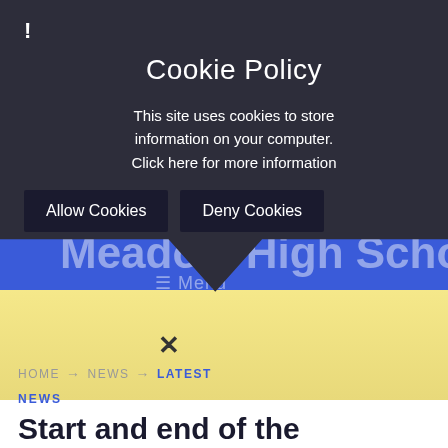[Figure (screenshot): School website with blue header background and yellow gradient section below]
Cookie Policy
This site uses cookies to store information on your computer. Click here for more information
Allow Cookies   Deny Cookies
HOME → NEWS → LATEST NEWS
Start and end of the